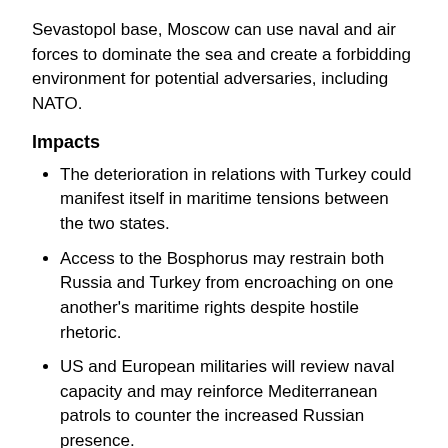Sevastopol base, Moscow can use naval and air forces to dominate the sea and create a forbidding environment for potential adversaries, including NATO.
Impacts
The deterioration in relations with Turkey could manifest itself in maritime tensions between the two states.
Access to the Bosphorus may restrain both Russia and Turkey from encroaching on one another's maritime rights despite hostile rhetoric.
US and European militaries will review naval capacity and may reinforce Mediterranean patrols to counter the increased Russian presence.
ANALYSIS:
The Black Sea Fleet ranks third in importance for the Russian navy, behind the Northern and Pacific fleets, but ahead of the Baltic Fleet and the Caspian Flotilla. Since the collapse of the